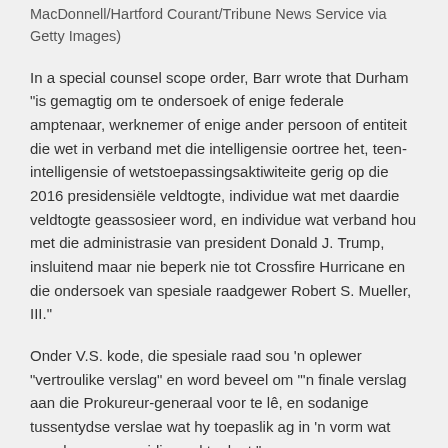MacDonnell/Hartford Courant/Tribune News Service via Getty Images)
In a special counsel scope order, Barr wrote that Durham "is gemagtig om te ondersoek of enige federale amptenaar, werknemer of enige ander persoon of entiteit die wet in verband met die intelligensie oortree het, teen-intelligensie of wetstoepassingsaktiwiteite gerig op die 2016 presidensiële veldtogte, individue wat met daardie veldtogte geassosieer word, en individue wat verband hou met die administrasie van president Donald J. Trump, insluitend maar nie beperk nie tot Crossfire Hurricane en die ondersoek van spesiale raadgewer Robert S. Mueller, III."
Onder V.S. kode, die spesiale raad sou 'n oplewer "vertroulike verslag" en word beveel om "'n finale verslag aan die Prokureur-generaal voor te lê, en sodanige tussentydse verslae wat hy toepaslik ag in 'n vorm wat openbare verspreiding sal toelaat."